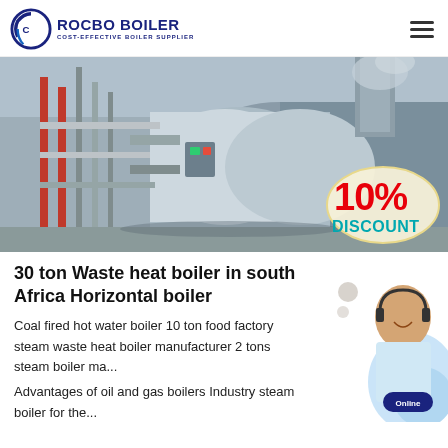[Figure (logo): Rocbo Boiler logo with circular arc icon and text 'ROCBO BOILER - COST-EFFECTIVE BOILER SUPPLIER']
[Figure (photo): Industrial boiler equipment in a factory setting with pipes and large cylindrical boiler vessels, with a 10% DISCOUNT badge overlay]
30 ton Waste heat boiler in south Africa Horizontal boiler
Coal fired hot water boiler 10 ton food factory steam waste heat boiler manufacturer 2 tons steam boiler manufacturer
Advantages of oil and gas boilers Industry steam boiler for the